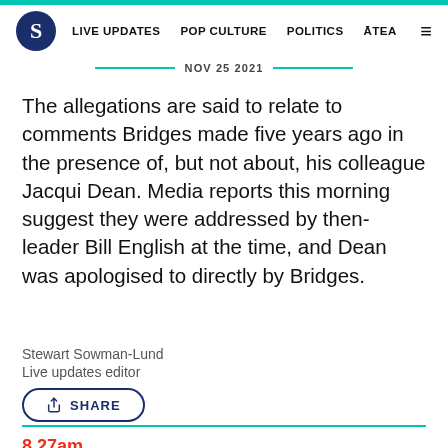S  LIVE UPDATES  POP CULTURE  POLITICS  ĀTEA
NOV 25 2021
The allegations are said to relate to comments Bridges made five years ago in the presence of, but not about, his colleague Jacqui Dean. Media reports this morning suggest they were addressed by then-leader Bill English at the time, and Dean was apologised to directly by Bridges.
Stewart Sowman-Lund
Live updates editor
SHARE
8.27am